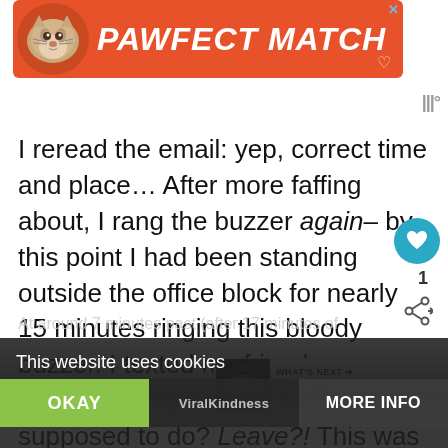[Figure (other): Advertisement banner with orange background, cat image on left, bold white italic text reading PAWFECT MATCH, X close button top right, heart icon bottom right]
[Figure (other): Weather widget icon showing three vertical bars with degree symbol]
I reread the email: yep, correct time and place… After more faffing about, I rang the buzzer again– by this point I had been standing outside the office block for nearly 15 minutes ringing this bloody buzzer. I texted my friends: no useful suggestions. What was I supposed to do? Leave?! This was the perf
[Figure (other): Circular teal like/heart button]
1
[Figure (other): Share icon button]
[Figure (other): WHAT'S NEXT banner with thumbnail showing dark circular image with text, and title Life Doesn't Always Go T...]
At around 7 minutes past (after 17 minutes of
This website uses cookies
ViralKindness
OKAY
MORE INFO